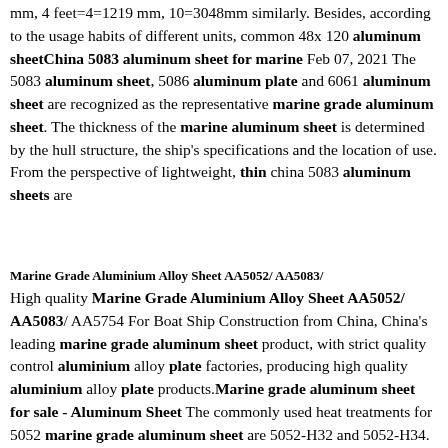mm, 4 feet=4=1219 mm, 10=3048mm similarly. Besides, according to the usage habits of different units, common 48x 120 aluminum sheetChina 5083 aluminum sheet for marine Feb 07, 2021 The 5083 aluminum sheet, 5086 aluminum plate and 6061 aluminum sheet are recognized as the representative marine grade aluminum sheet. The thickness of the marine aluminum sheet is determined by the hull structure, the ship's specifications and the location of use. From the perspective of lightweight, thin china 5083 aluminum sheets are
Marine Grade Aluminium Alloy Sheet AA5052/ AA5083/
High quality Marine Grade Aluminium Alloy Sheet AA5052/ AA5083/ AA5754 For Boat Ship Construction from China, China's leading marine grade aluminum sheet product, with strict quality control aluminium alloy plate factories, producing high quality aluminium alloy plate products.Marine grade aluminum sheet for sale - Aluminum Sheet The commonly used heat treatments for 5052 marine grade aluminum sheet are 5052-H32 and 5052-H34.